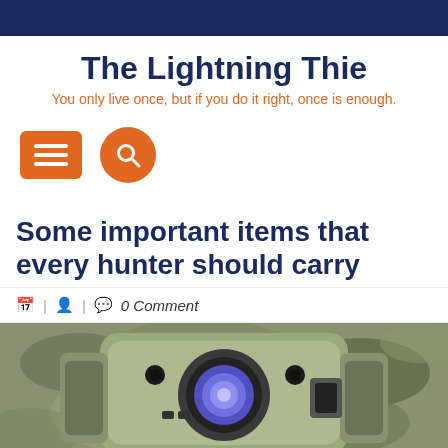The Lightning Thie — You only live once, but if you do it right, once is enough.
[Figure (screenshot): Website header with menu button (hamburger icon) and search button (magnifying glass icon), both in orange]
Some important items that every hunter should carry
| 🗓 | 👤 | 💬 0 Comment
[Figure (photo): A trail camera in camouflage pattern with a circular lens in the center, partially cropped at the bottom of the page.]